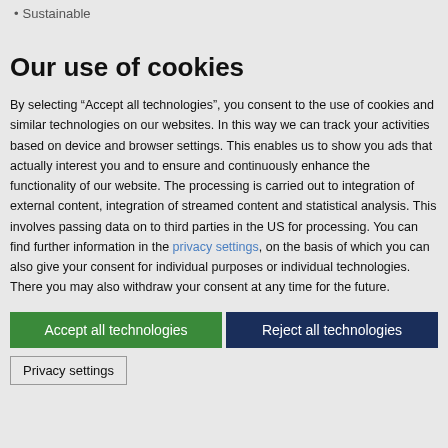• Sustainable
Our use of cookies
By selecting “Accept all technologies”, you consent to the use of cookies and similar technologies on our websites. In this way we can track your activities based on device and browser settings. This enables us to show you ads that actually interest you and to ensure and continuously enhance the functionality of our website. The processing is carried out to integration of external content, integration of streamed content and statistical analysis. This involves passing data on to third parties in the US for processing. You can find further information in the privacy settings, on the basis of which you can also give your consent for individual purposes or individual technologies. There you may also withdraw your consent at any time for the future.